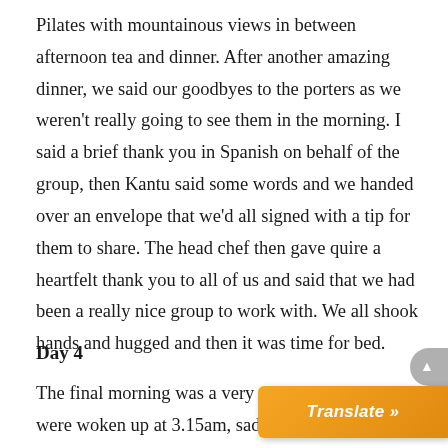Pilates with mountainous views in between afternoon tea and dinner. After another amazing dinner, we said our goodbyes to the porters as we weren't really going to see them in the morning. I said a brief thank you in Spanish on behalf of the group, then Kantu said some words and we handed over an envelope that we'd all signed with a tip for them to share. The head chef then gave quire a heartfelt thank you to all of us and said that we had been a really nice group to work with. We all shook hands and hugged and then it was time for bed.
Day 4
The final morning was a very weird morning. We were woken up at 3.15am, sadly not with cocoa tea, and had a light breakfast. By 4.15am, everything was completely packed away and the porters had gone as they needed to 5am at the bottom of the hill. We all got m